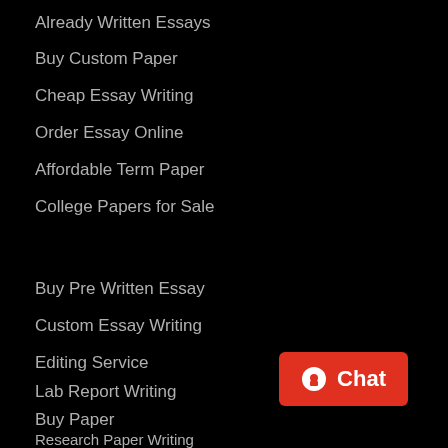Already Written Essays
Buy Custom Paper
Cheap Essay Writing
Order Essay Online
Affordable Term Paper
College Papers for Sale
Buy Pre Written Essay
Custom Essay Writing
Editing Service
Lab Report Writing
Buy Paper
Research Paper Writing
[Figure (other): Red chat button with circle chat icon and text 'Chat']